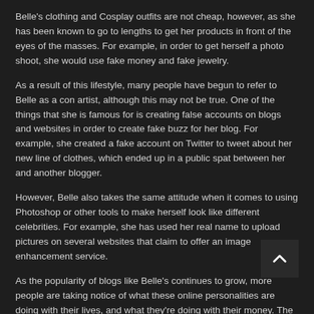Belle's clothing and Cosplay outfits are not cheap, however, as she has been known to go to lengths to get her products in front of the eyes of the masses. For example, in order to get herself a photo shoot, she would use fake money and fake jewelry.
As a result of this lifestyle, many people have begun to refer to Belle as a con artist, although this may not be true. One of the things that she is famous for is creating false accounts on blogs and websites in order to create fake buzz for her blog. For example, she created a fake account on Twitter to tweet about her new line of clothes, which ended up in a public spat between her and another blogger.
However, Belle also takes the same attitude when it comes to using Photoshop or other tools to make herself look like different celebrities. For example, she has used her real name to upload pictures on several websites that claim to offer an image enhancement service.
As the popularity of blogs like Belle's continues to grow, more people are taking notice of what these online personalities are doing with their lives, and what they're doing with their money. The Internet is no longer just a place where someone can keep up with their blog. They can also use this technology in a way that benefits them and allows them to create a larger following of fans who will then take the time to read their blog posts and follow their Twitter and Facebook pages.